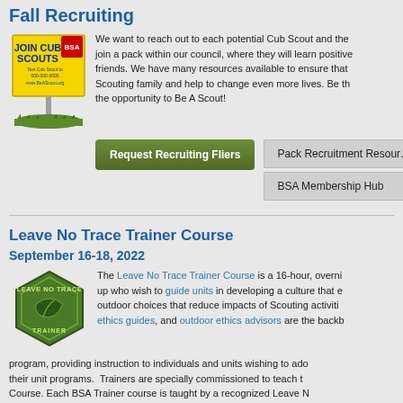Fall Recruiting
[Figure (illustration): Join Cub Scouts yard sign with logo and BeAScout.org URL]
We want to reach out to each potential Cub Scout and the join a pack within our council, where they will learn positive friends. We have many resources available to ensure that Scouting family and help to change even more lives. Be th the opportunity to Be A Scout!
Request Recruiting Fliers
Pack Recruitment Resources
BSA Membership Hub
Leave No Trace Trainer Course
September 16-18, 2022
[Figure (logo): Leave No Trace Trainer hexagonal green badge logo]
The Leave No Trace Trainer Course is a 16-hour, overnight program for individuals up who wish to guide units in developing a culture that encourages outdoor choices that reduce impacts of Scouting activities. outdoor ethics guides, and outdoor ethics advisors are the backbone of the program, providing instruction to individuals and units wishing to adopt LNT into their unit programs. Trainers are specially commissioned to teach the Trainer Course. Each BSA Trainer course is taught by a recognized Leave No Trace Master Educator licensed to present the full BSA program that is...